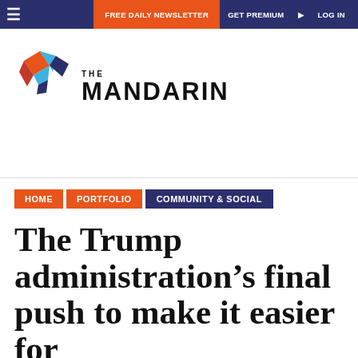Free Daily Newsletter   Get Premium   Log in
[Figure (logo): The Mandarin logo with geometric diamond/arrow icon in orange, red, blue and purple colors, next to text 'THE MANDARIN' in bold uppercase]
HOME   PORTFOLIO   COMMUNITY & SOCIAL
The Trump administration's final push to make it easier for